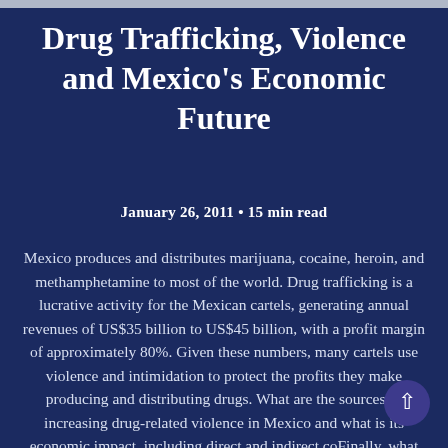Drug Trafficking, Violence and Mexico's Economic Future
January 26, 2011 • 15 min read
Mexico produces and distributes marijuana, cocaine, heroin, and methamphetamine to most of the world. Drug trafficking is a lucrative activity for the Mexican cartels, generating annual revenues of US$35 billion to US$45 billion, with a profit margin of approximately 80%. Given these numbers, many cartels use violence and intimidation to protect the profits they make producing and distributing drugs. What are the sources of increasing drug-related violence in Mexico and what is its economic impact, including direct and indirect co... Finally, what has been the response of the global business community?